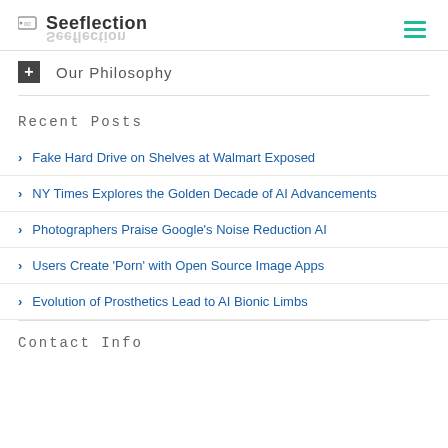Seeflection
Our Philosophy
Recent Posts
Fake Hard Drive on Shelves at Walmart Exposed
NY Times Explores the Golden Decade of AI Advancements
Photographers Praise Google's Noise Reduction AI
Users Create 'Porn' with Open Source Image Apps
Evolution of Prosthetics Lead to AI Bionic Limbs
Contact Info